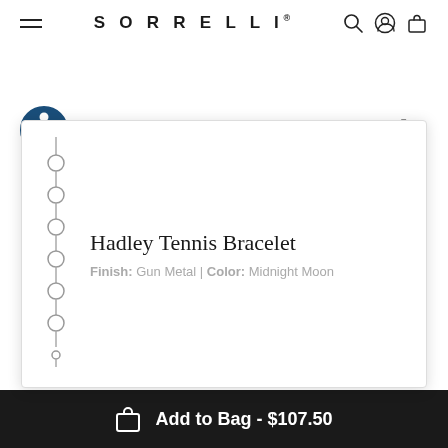SORRELLI
Here to Spark a sisterhood, Sustainably
[Figure (photo): Hadley Tennis Bracelet product image showing a chain bracelet with circular links in gun metal finish]
Hadley Tennis Bracelet
Finish: Gun Metal | Color: Midnight Moon
Add to Bag - $107.50